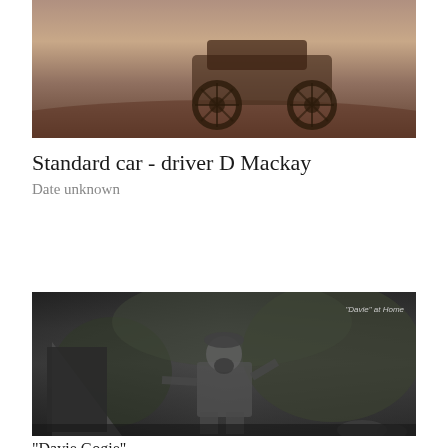[Figure (photo): Sepia/brown toned old photograph of a Standard car, partially visible with wheels, with driver D Mackay. Vintage early automobile photographed outdoors.]
Standard car - driver D Mackay
Date unknown
[Figure (photo): Black and white photograph of a man standing outdoors near a makeshift tent/shelter. Text on photo reads '"Davie" at Home'. The man has a beard and is wearing a cap and suit, standing among trees and shrubs.]
"Davie Gogie"